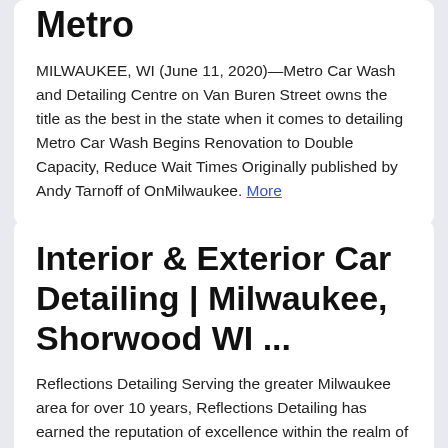Metro
MILWAUKEE, WI (June 11, 2020)—Metro Car Wash and Detailing Centre on Van Buren Street owns the title as the best in the state when it comes to detailing Metro Car Wash Begins Renovation to Double Capacity, Reduce Wait Times Originally published by Andy Tarnoff of OnMilwaukee. More
Interior & Exterior Car Detailing | Milwaukee, Shorwood WI ...
Reflections Detailing Serving the greater Milwaukee area for over 10 years, Reflections Detailing has earned the reputation of excellence within the realm of auto detailing.